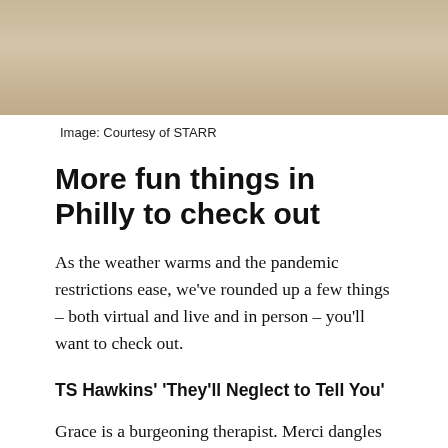[Figure (photo): A photograph with a beige/tan warm-toned background, cropped at top of page]
Image: Courtesy of STARR
More fun things in Philly to check out
As the weather warms and the pandemic restrictions ease, we've rounded up a few things – both virtual and live and in person – you'll want to check out.
TS Hawkins' 'They'll Neglect to Tell You'
Grace is a burgeoning therapist. Merci dangles for freedom at the bottom of a bourbon glass. College